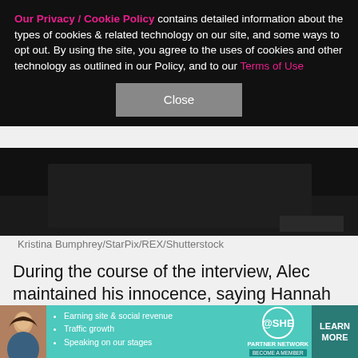Our Privacy / Cookie Policy contains detailed information about the types of cookies & related technology on our site, and some ways to opt out. By using the site, you agree to the uses of cookies and other technology as outlined in our Policy, and to our Terms of Use
[Figure (photo): Dark/black photo area showing partial image with cookie banner overlay and Close button]
Kristina Bumphrey/StarPix/REX/Shutterstock
During the course of the interview, Alec maintained his innocence, saying Hannah Gutierrez-Reed, the on-set armorer, and assistant director Dave Halls, who handed Alec the gun, are to blame for the accidental death.
"Someone put a live bullet in the gun who should have
[Figure (photo): SHE Partner Network advertisement banner with woman photo, bullet points about earning site & social revenue, traffic growth, speaking on our stages, SHE logo, and Learn More button]